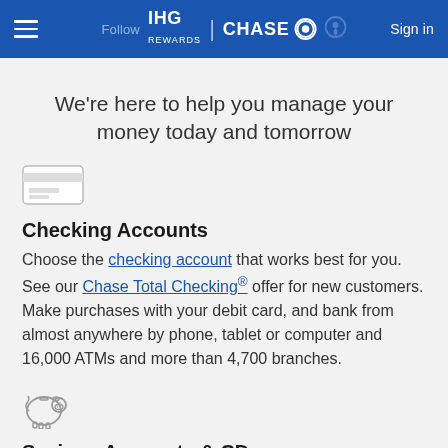IHG REWARDS | CHASE  Sign in
We're here to help you manage your money today and tomorrow
[Figure (other): Credit card icon illustration]
Checking Accounts
Choose the checking account that works best for you. See our Chase Total Checking® offer for new customers. Make purchases with your debit card, and bank from almost anywhere by phone, tablet or computer and 16,000 ATMs and more than 4,700 branches.
[Figure (illustration): Piggy bank icon illustration]
Savings Accounts & CDs